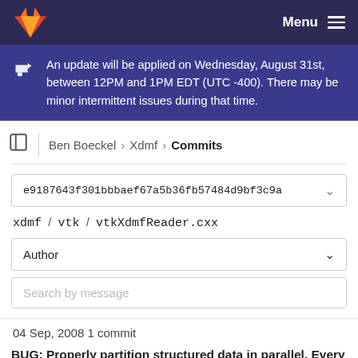GitLab navigation bar with logo and Menu
An update will be applied on Wednesday, August 31st, between 12PM and 1PM EDT (UTC -400). There may be minor intermittent issues during that time.
Ben Boeckel › Xdmf › Commits
e9187643f301bbbaef67a5b36fb57484d9bf3c9a
xdmf / vtk / vtkXdmfReader.cxx
Author
Search by message
04 Sep, 2008 1 commit
BUG: Properly partition structured data in parallel. Every